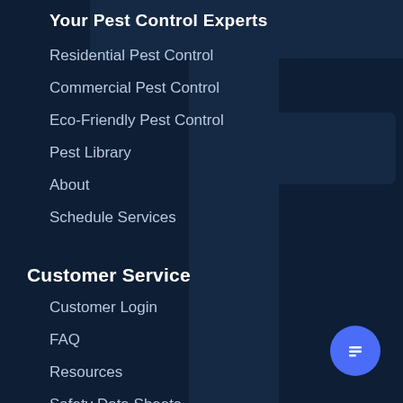Your Pest Control Experts
Residential Pest Control
Commercial Pest Control
Eco-Friendly Pest Control
Pest Library
About
Schedule Services
Customer Service
Customer Login
FAQ
Resources
Safety Data Sheets
Contact